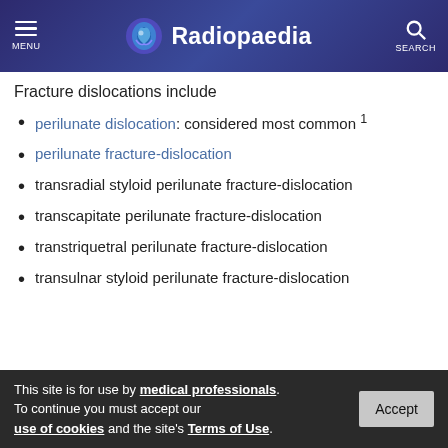MENU | Radiopaedia | SEARCH
Fracture dislocations include
perilunate dislocation: considered most common 1
perilunate fracture-dislocation
transradial styloid perilunate fracture-dislocation
transcapitate perilunate fracture-dislocation
transtriquetral perilunate fracture-dislocation
transulnar styloid perilunate fracture-dislocation
This site is for use by medical professionals. To continue you must accept our use of cookies and the site's Terms of Use.